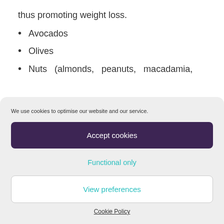thus promoting weight loss.
Avocados
Olives
Nuts (almonds, peanuts, macadamia,
We use cookies to optimise our website and our service.
Accept cookies
Functional only
View preferences
Cookie Policy